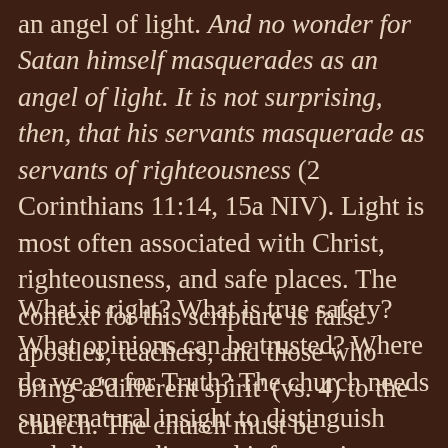an angel of light. And no wonder for Satan himself masquerades as an angel of light. It is not surprising, then, that his servants masquerade as servants of righteousness (2 Corinthians 11:14, 15a NIV). Light is most often associated with Christ, righteousness, and safe places. The context for this scripture is false apostles, teachers, and those who bring a 'different spirit' (vs. 4) to the church. The church must be discerning, not only within the walls, but also outside the walls of our buildings. There are many voices today offering the good, the safe, and the right way to live in this season of the virus. The gift of the discerning of spirits is greatly needed in this context.
What is right? What is true safety? What opinions can be trusted? Where do we go for Truth? The church needs supernatural insight to distinguish and discern disputed information, underlying motives, and global contexts of this season. There are majority voices declaring that adhering to all governmental